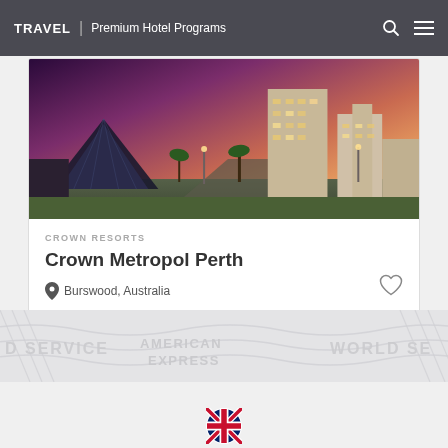TRAVEL | Premium Hotel Programs
[Figure (photo): Aerial/eye-level night photo of Crown Metropol Perth hotel complex in Burswood, Australia, with illuminated buildings, palm trees, and purple-pink evening sky]
CROWN RESORTS
Crown Metropol Perth
Burswood, Australia
[Figure (other): American Express World Service watermark banner with light grey text on light grey background]
[Figure (logo): UK/British flag circular icon at bottom center]